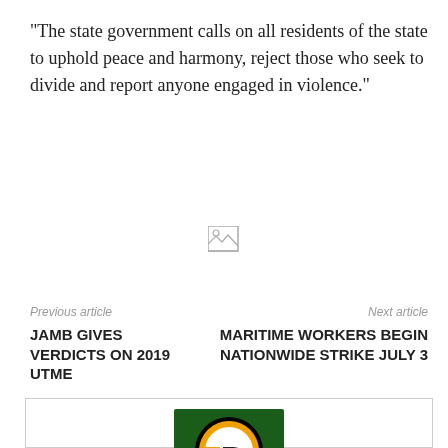“The state government calls on all residents of the state to uphold peace and harmony, reject those who seek to divide and report anyone engaged in violence.”
[Figure (other): Broken image placeholder icon]
Previous article
Next article
JAMB GIVES VERDICTS ON 2019 UTME
MARITIME WORKERS BEGIN NATIONWIDE STRIKE JULY 3
[Figure (logo): Tropic Reporters logo: circular emblem with TR letters in orange on dark circle, set against a dark green square background, with text TROPIC REPORTERS below]
Tropic Reporters